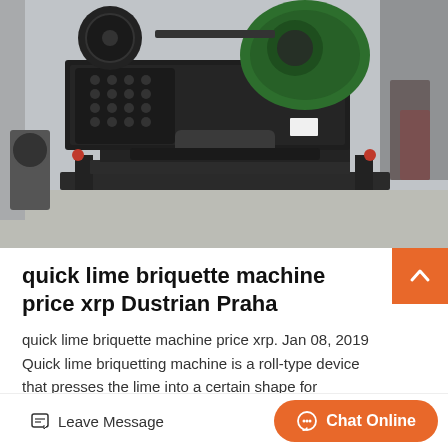[Figure (photo): Industrial lime briquette machine in a factory/warehouse setting. Large dark grey/black heavy machine with green motor housing on the upper right, mounted on a heavy metal frame. Industrial building interior visible in background.]
quick lime briquette machine price xrp Dustrian Praha
quick lime briquette machine price xrp. Jan 08, 2019 Quick lime briquetting machine is a roll-type device that presses the lime into a certain shape for storage and further use. Workin